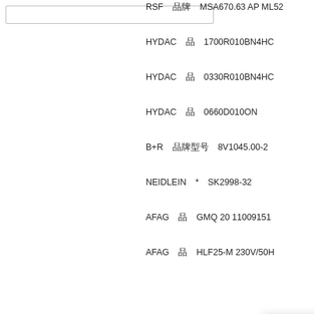[Figure (screenshot): Search box input field at top left]
RSF 品牌 MSA670.63 AP ML52
HYDAC 品牌 1700R010BN4HC
HYDAC 品牌 0330R010BN4HC
HYDAC 品牌 0660D010ON
B+R 品牌型号 8V1045.00-2
NEIDLEIN * SK2998-32
AFAG 品牌 GMQ 20 110091515
AFAG 品牌 HLF25-M 230V/50H
HY
HA
TW
HY
KI
MT
HM
[Figure (screenshot): Online chat widget overlay with blue side tab '在线咨询' and popup showing phone 021-60554345- and QQ:419283243, with QQ online button and second section header]